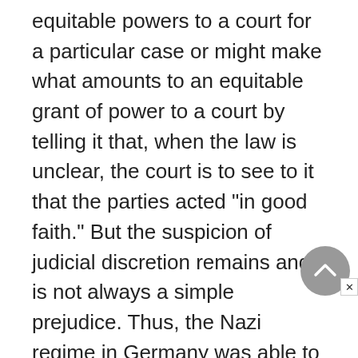equitable powers to a court for a particular case or might make what amounts to an equitable grant of power to a court by telling it that, when the law is unclear, the court is to see to it that the parties acted "in good faith." But the suspicion of judicial discretion remains and is not always a simple prejudice. Thus, the Nazi regime in Germany was able to make use of such discretion by using the courts to provide a patina of legality to its point...